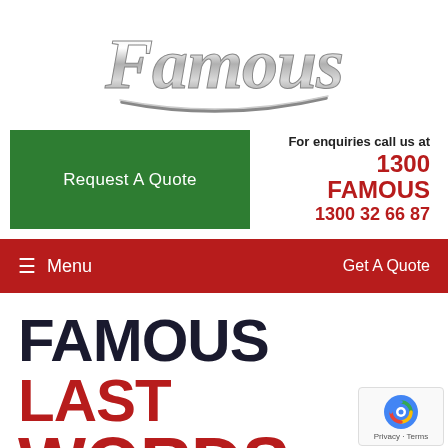[Figure (logo): Famous logo in chrome script lettering with underline swoosh]
Request A Quote
For enquiries call us at
1300 FAMOUS
1300 32 66 87
≡ Menu   Get A Quote
FAMOUS LAST WORDS
IN THIS MONTHS